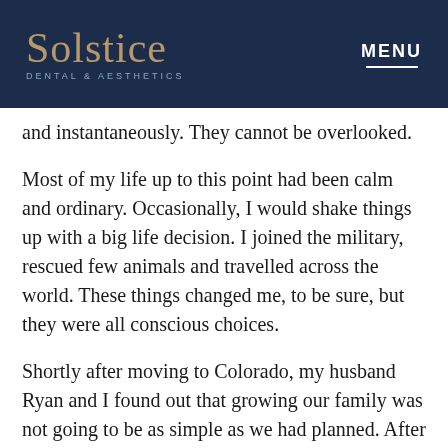Solstice DENTAL & AESTHETICS | MENU
and instantaneously. They cannot be overlooked.
Most of my life up to this point had been calm and ordinary. Occasionally, I would shake things up with a big life decision. I joined the military, rescued few animals and travelled across the world. These things changed me, to be sure, but they were all conscious choices.
Shortly after moving to Colorado, my husband Ryan and I found out that growing our family was not going to be as simple as we had planned. After some time, and the help of a reproductive endocrinologist, we were blessed to find